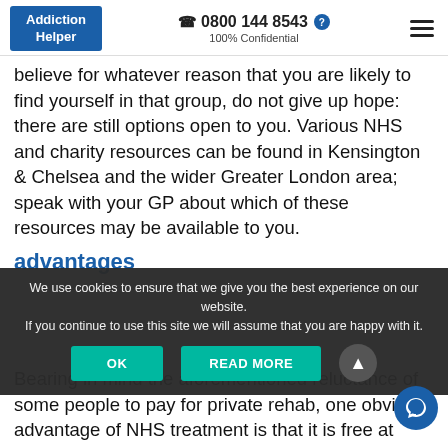Addiction Helper | 0800 144 8543 | 100% Confidential
believe for whatever reason that you are likely to find yourself in that group, do not give up hope: there are still options open to you. Various NHS and charity resources can be found in Kensington & Chelsea and the wider Greater London area; speak with your GP about which of these resources may be available to you.
advantages
We use cookies to ensure that we give you the best experience on our website. If you continue to use this site we will assume that you are happy with it.
Bearing in mind the aforementioned reluctance of some people to pay for private rehab, one obvious advantage of NHS treatment is that it is free at point of service delivery. However, there are other advantages too: for one thing, the NHS is active